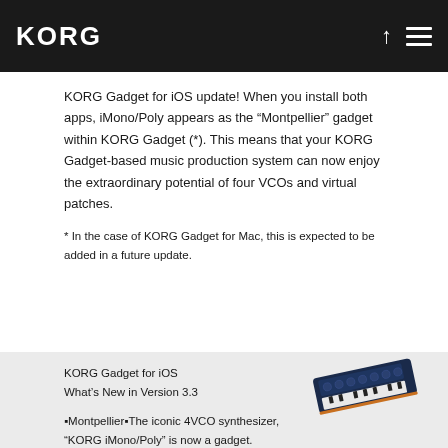KORG
KORG Gadget for iOS update! When you install both apps, iMono/Poly appears as the “Montpellier” gadget within KORG Gadget (*). This means that your KORG Gadget-based music production system can now enjoy the extraordinary potential of four VCOs and virtual patches.
* In the case of KORG Gadget for Mac, this is expected to be added in a future update.
KORG Gadget for iOS
What’s New in Version 3.3
[Figure (photo): Photo of KORG iMono/Poly synthesizer hardware, shown at an angle, blue/dark colored keyboard instrument]
▪Montpellier▪ The iconic 4VCO synthesizer, “KORG iMono/Poly” is now a gadget.
▪Improved so that note input during pre-count is kept.